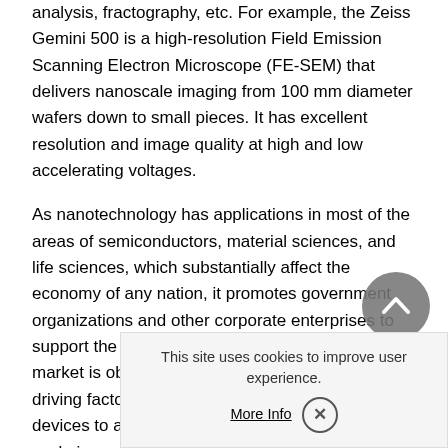analysis, fractography, etc. For example, the Zeiss Gemini 500 is a high-resolution Field Emission Scanning Electron Microscope (FE-SEM) that delivers nanoscale imaging from 100 mm diameter wafers down to small pieces. It has excellent resolution and image quality at high and low accelerating voltages.
As nanotechnology has applications in most of the areas of semiconductors, material sciences, and life sciences, which substantially affect the economy of any nation, it promotes government organizations and other corporate enterprises to support the R&D via public funding. The global market is observing higher growth owing to various driving factors, such as it is one of the most vital devices to analyze nanomaterials at the atomic scale in many pharmaceutical industries, medical devices, and numerous industry verticals.
Semiconductor device manu... microscopes for procedures ...